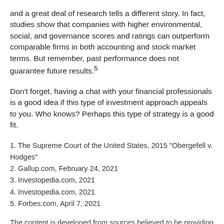and a great deal of research tells a different story. In fact, studies show that companies with higher environmental, social, and governance scores and ratings can outperform comparable firms in both accounting and stock market terms. But remember, past performance does not guarantee future results.5
Don't forget, having a chat with your financial professionals is a good idea if this type of investment approach appeals to you. Who knows? Perhaps this type of strategy is a good fit.
1. The Supreme Court of the United States, 2015 "Obergefell v. Hodges"
2. Gallup.com, February 24, 2021
3. Investopedia.com, 2021
4. Investopedia.com, 2021
5. Forbes.com, April 7, 2021
The content is developed from sources believed to be providing